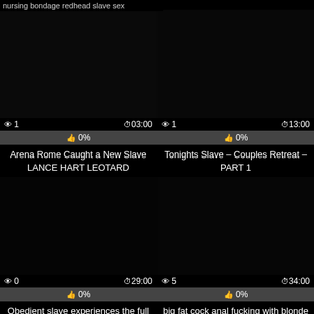nursing bondage redhead slave sex
[Figure (screenshot): Video thumbnail - dark/black, left top card]
👁 1   ⏱03:00
👍 0%
Arena Rome Caught a New Slave LANCE HART LEOTARD
[Figure (screenshot): Video thumbnail - dark/black, right top card]
👁 1   ⏱13:00
👍 0%
Tonights Slave – Couples Retreat – PART 1
[Figure (screenshot): Video thumbnail - dark/black, left bottom card]
👁 0   ⏱29:00
👍 0%
Obedient slave experiences the full of mistress Nicolette's anger
[Figure (screenshot): Video thumbnail - dark/black, right bottom card]
👁 5   ⏱34:00
👍 0%
big fat cock anal fucking with blonde slave swallow cum